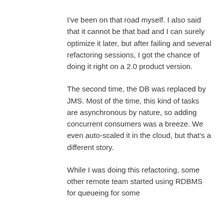I've been on that road myself. I also said that it cannot be that bad and I can surely optimize it later, but after failing and several refactoring sessions, I got the chance of doing it right on a 2.0 product version.
The second time, the DB was replaced by JMS. Most of the time, this kind of tasks are asynchronous by nature, so adding concurrent consumers was a breeze. We even auto-scaled it in the cloud, but that's a different story.
While I was doing this refactoring, some other remote team started using RDBMS for queueing for some